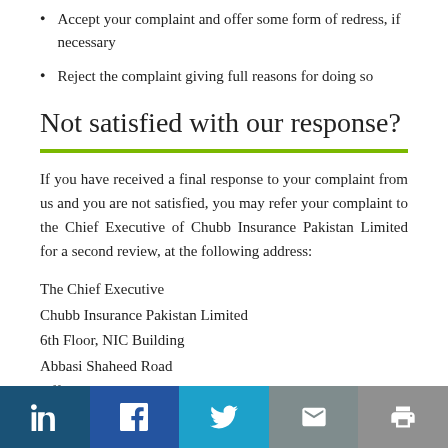Accept your complaint and offer some form of redress, if necessary
Reject the complaint giving full reasons for doing so
Not satisfied with our response?
If you have received a final response to your complaint from us and you are not satisfied, you may refer your complaint to the Chief Executive of Chubb Insurance Pakistan Limited for a second review, at the following address:
The Chief Executive
Chubb Insurance Pakistan Limited
6th Floor, NIC Building
Abbasi Shaheed Road
Off Shahrah-e- Faisal
Karachi 74400
LinkedIn | Facebook | Twitter | Email | Print